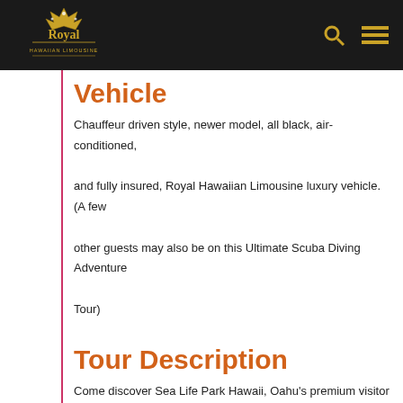Royal Hawaiian Limousine
Vehicle
Chauffeur driven style, newer model, all black, air-conditioned, and fully insured, Royal Hawaiian Limousine luxury vehicle. (A few other guests may also be on this Ultimate Scuba Diving Adventure Tour)
Tour Description
Come discover Sea Life Park Hawaii, Oahu's premium visitor attraction where guests can experience sharks, dolphins, rays, sea lions, turtles and native fish. During this incredible 7- hour tour adventure; you will receive a narrated tour of the East Side of the Island, scuba diving and swimming with Hawaiian Sharks, String Ray and colorful Hawaiian fish. In addition, this tour allows you to experience the popular Dolphin Lagoon Show and you will be able to explore Sea Life Park Hawaii.